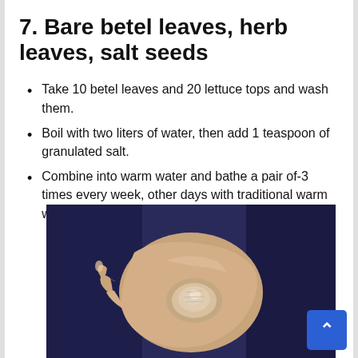7. Bare betel leaves, herb leaves, salt seeds
Take 10 betel leaves and 20 lettuce tops and wash them.
Boil with two liters of water, then add 1 teaspoon of granulated salt.
Combine into warm water and bathe a pair of-3 times every week, other days with traditional warm water.
[Figure (photo): Close-up photo of a person scratching or holding their arm/elbow, showing dry, scaly skin condition (psoriasis or similar skin condition), wearing dark blue clothing.]